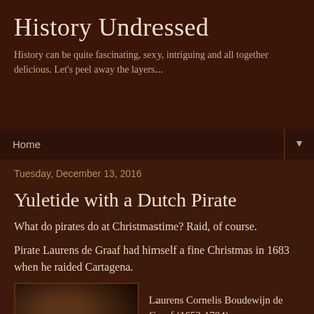History Undressed
History can be quite fascinating, sexy, intriguing and all together delicious. Let's peel away the layers...
Home ▼
Tuesday, December 13, 2016
Yuletide with a Dutch Pirate
What do pirates do at Christmastime? Raid, of course.
Pirate Laurens de Graaf had himself a fine Christmas in 1683 when he raided Cartagena.
[Figure (photo): Dark portrait painting of a person, partially visible, with dark background]
Laurens Cornelis Boudewijn de Graaf (1653-1704) was a